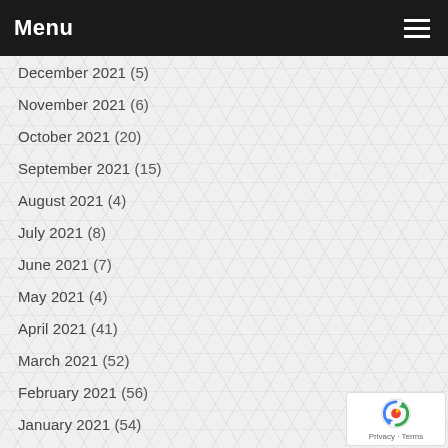Menu
December 2021 (5)
November 2021 (6)
October 2021 (20)
September 2021 (15)
August 2021 (4)
July 2021 (8)
June 2021 (7)
May 2021 (4)
April 2021 (41)
March 2021 (52)
February 2021 (56)
January 2021 (54)
December 2020 (57)
November 2020 (53)
October 2020 (29)
September 2020 (29)